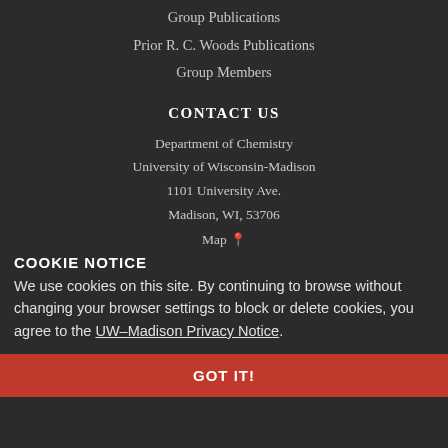Group Publications
Prior R. C. Woods Publications
Group Members
CONTACT US
Department of Chemistry
University of Wisconsin-Madison
1101 University Ave.
Madison, WI, 53706
Map 📍
Email: robert.mcmahon@wisc.edu
Phone: (608) 262-0660
Website feedback, questions, or accessibility issues: brian.esselman@wisc.edu.
Learn more about accessibility at UW–Madison
This site was built using the UW Theme | Privacy Notice | © 2022 Board of
COOKIE NOTICE
We use cookies on this site. By continuing to browse without changing your browser settings to block or delete cookies, you agree to the UW–Madison Privacy Notice.
GOT IT!